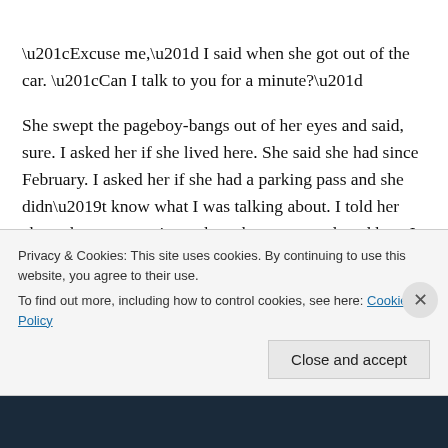“Excuse me,” I said when she got out of the car. “Can I talk to you for a minute?”
She swept the pageboy-bangs out of her eyes and said, sure. I asked her if she lived here. She said she had since February. I asked her if she had a parking pass and she didn’t know what I was talking about. I told her about the man wanting to have her car towed, and how I thought that was mean-spirited because at that moment I did think it was mean-spirited. I told her the rules, no parking
Privacy & Cookies: This site uses cookies. By continuing to use this website, you agree to their use.
To find out more, including how to control cookies, see here: Cookie Policy